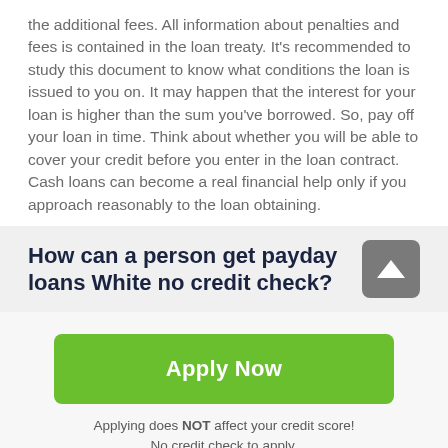the additional fees. All information about penalties and fees is contained in the loan treaty. It's recommended to study this document to know what conditions the loan is issued to you on. It may happen that the interest for your loan is higher than the sum you've borrowed. So, pay off your loan in time. Think about whether you will be able to cover your credit before you enter in the loan contract. Cash loans can become a real financial help only if you approach reasonably to the loan obtaining.
How can a person get payday loans White no credit check?
[Figure (other): Gray rounded square button with white upward arrow icon (scroll to top button)]
Apply Now
Applying does NOT affect your credit score! No credit check to apply.